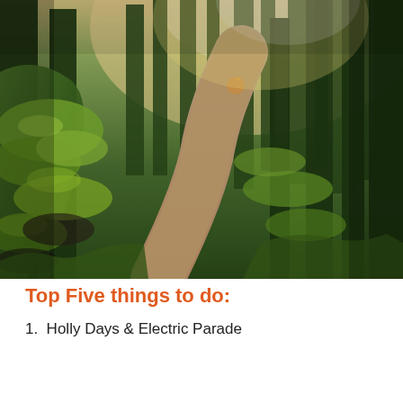[Figure (photo): A winding gravel forest path surrounded by tall conifer trees with bright green mossy undergrowth on the left hillside and sunlight/lens flare visible in the upper background.]
Top Five things to do:
1.  Holly Days & Electric Parade